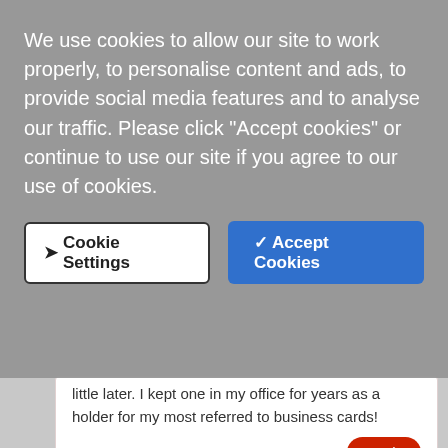[Figure (screenshot): Cookie consent overlay with text and two buttons: 'Cookie Settings' and 'Accept Cookies']
We use cookies to allow our site to work properly, to personalise content and ads, to provide social media features and to analyse our traffic. Please click “Accept cookies” or continue to use our site if you agree to our use of cookies.
little later. I kept one in my office for years as a holder for my most referred to business cards!
Michael Hoehn
APRIL 22, 2013 09:39 AM
I grew up with the 70's red, white and blue tins, with which my Dad would use after the Band-Aid's were used, for his shop. He would store different types of screws, fixtures, nuts and bolts, and the like for organizing his work bench. After he passed, I was cleaning up his